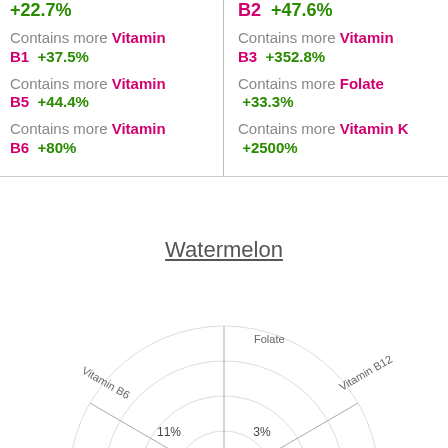+22.7%
B2  +47.6%
Contains more Vitamin B1  +37.5%
Contains more Vitamin B3  +352.8%
Contains more Vitamin B5  +44.4%
Contains more Folate  +33.3%
Contains more Vitamin B6  +80%
Contains more Vitamin K  +2500%
Watermelon
[Figure (radar-chart): Radar/spider chart for Watermelon showing vitamin percentages: Vitamin B6 11%, Folate 3%, Vitamin B12 0%, Vitamin K 1%, Vitamin B3 4%, Vitamin B5 14%]